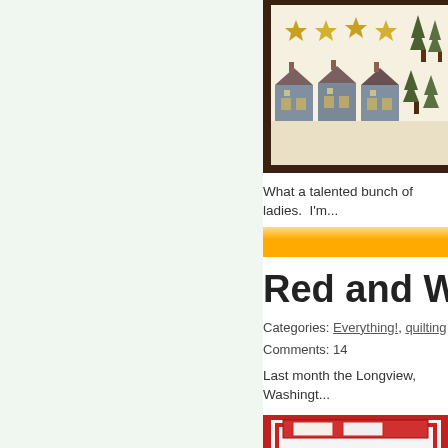[Figure (photo): Quilt with house and star blocks pattern, visible on right side of page]
What a talented bunch of ladies. I'm...
[Figure (other): Orange/yellow horizontal divider bar]
Red and White Q...
Categories: Everything!, quilting
Comments: 14
Last month the Longview, Washingt...
[Figure (photo): Bottom image showing a red and white quilt exhibit]